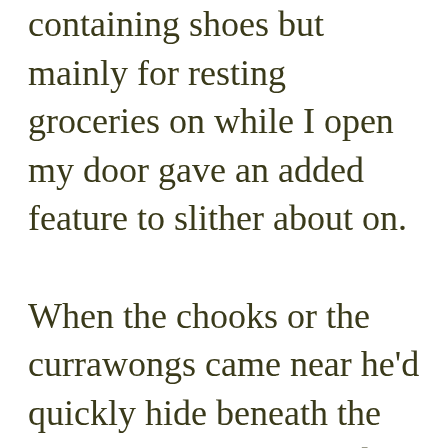containing shoes but mainly for resting groceries on while I open my door gave an added feature to slither about on.

When the chooks or the currawongs came near he'd quickly hide beneath the stairs only to return and stare me down. Nearly 8pm and it's now getting cooler and darker but he's still there eyeballing me. I